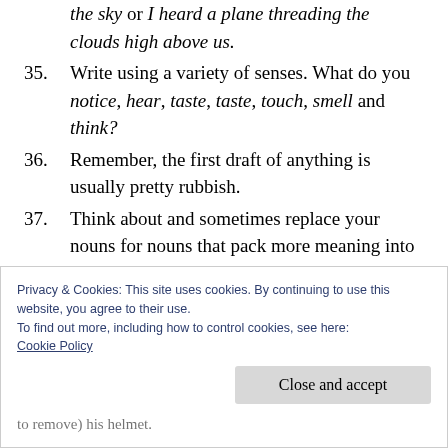the sky or I heard a plane threading the clouds high above us.
35. Write using a variety of senses. What do you notice, hear, taste, taste, touch, smell and think?
36. Remember, the first draft of anything is usually pretty rubbish.
37. Think about and sometimes replace your nouns for nouns that pack more meaning into a small space. People becomes strangers, light becomes glare and beach becomes the
Privacy & Cookies: This site uses cookies. By continuing to use this website, you agree to their use.
To find out more, including how to control cookies, see here:
Cookie Policy
to remove) his helmet.